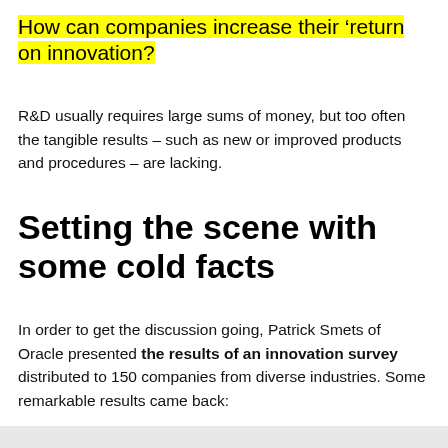How can companies increase their ‘return on innovation?
R&D usually requires large sums of money, but too often the tangible results – such as new or improved products and procedures – are lacking.
Setting the scene with some cold facts
In order to get the discussion going, Patrick Smets of Oracle presented the results of an innovation survey distributed to 150 companies from diverse industries. Some remarkable results came back: